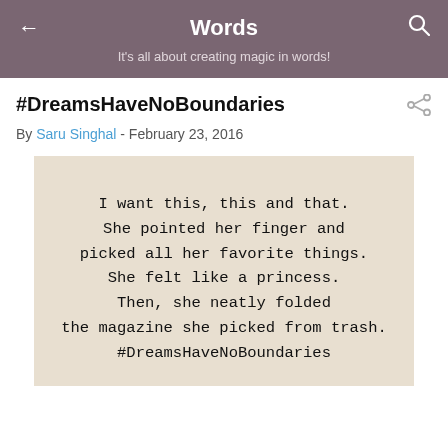Words
It's all about creating magic in words!
#DreamsHaveNoBoundaries
By Saru Singhal - February 23, 2016
[Figure (illustration): A beige/cream background image with typewriter-font poem text reading: I want this, this and that. She pointed her finger and picked all her favorite things. She felt like a princess. Then, she neatly folded the magazine she picked from trash. #DreamsHaveNoBoundaries]